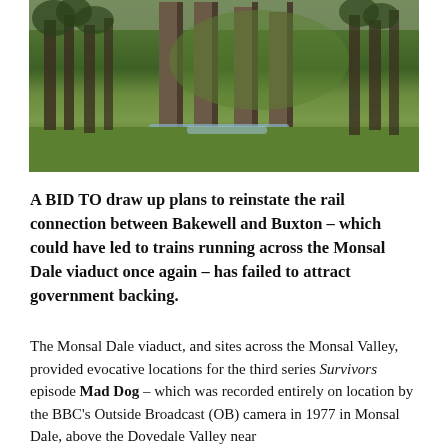[Figure (photo): A photograph of the Monsal Dale viaduct area showing stone pillars/columns in a valley with a stream running between them, surrounded by green grass and trees.]
A BID TO draw up plans to reinstate the rail connection between Bakewell and Buxton – which could have led to trains running across the Monsal Dale viaduct once again – has failed to attract government backing.
The Monsal Dale viaduct, and sites across the Monsal Valley, provided evocative locations for the third series Survivors episode Mad Dog – which was recorded entirely on location by the BBC's Outside Broadcast (OB) camera in 1977 in Monsal Dale, above the Dovedale Valley near